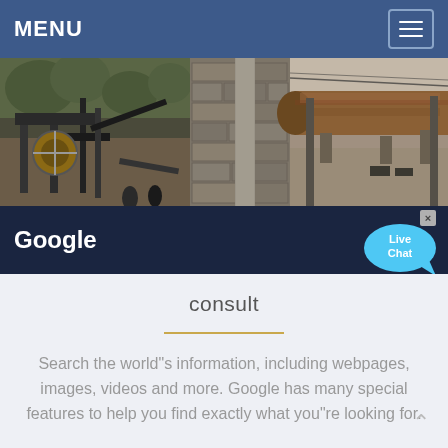MENU
[Figure (photo): Industrial machinery and equipment — jaw crusher, stone wall with pillars, and large rotary kiln/drum in outdoor industrial settings]
Google
[Figure (other): Live Chat bubble widget with close button]
consult
Search the world"s information, including webpages, images, videos and more. Google has many special features to help you find exactly what you"re looking for.